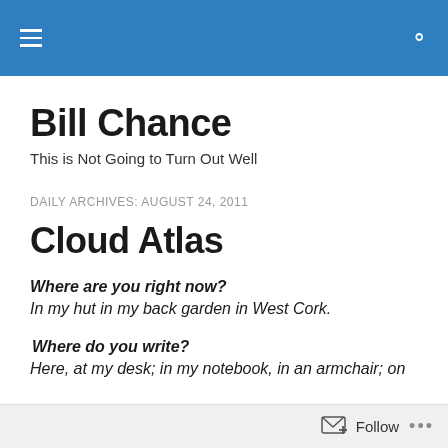Bill Chance [navigation header with hamburger menu and search icon]
Bill Chance
This is Not Going to Turn Out Well
DAILY ARCHIVES: AUGUST 24, 2011
Cloud Atlas
Where are you right now?
In my hut in my back garden in West Cork.
Where do you write?
Here, at my desk; in my notebook, in an armchair; on
Follow ...